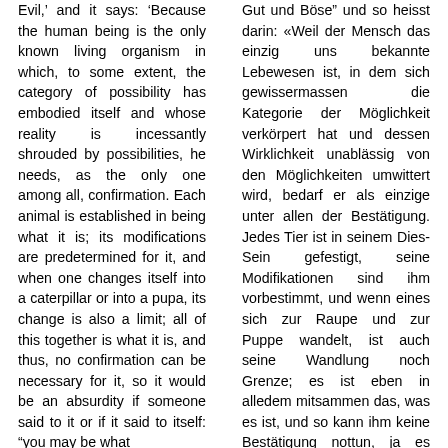Evil,' and it says: 'Because the human being is the only known living organism in which, to some extent, the category of possibility has embodied itself and whose reality is incessantly shrouded by possibilities, he needs, as the only one among all, confirmation. Each animal is established in being what it is; its modifications are predetermined for it, and when one changes itself into a caterpillar or into a pupa, its change is also a limit; all of this together is what it is, and thus, no confirmation can be necessary for it, so it would be an absurdity if someone said to it or if it said to itself: "you may be what you are"
Gut und Böse" und so heisst darin: «Weil der Mensch das einzig uns bekannte Lebewesen ist, in dem sich gewissermassen die Kategorie der Möglichkeit verkörpert hat und dessen Wirklichkeit unablässig von den Möglichkeiten umwittert wird, bedarf er als einzige unter allen der Bestätigung. Jedes Tier ist in seinem Dies-Sein gefestigt, seine Modifikationen sind ihm vorbestimmt, und wenn eines sich zur Raupe und zur Puppe wandelt, ist auch seine Wandlung noch Grenze; es ist eben in alledem mitsammen das, was es ist, und so kann ihm keine Bestätigung nottun, ja es wäre ein Widersinn, wenn